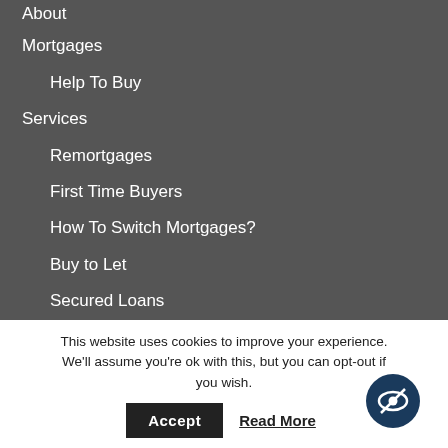About
Mortgages
Help To Buy
Services
Remortgages
First Time Buyers
How To Switch Mortgages?
Buy to Let
Secured Loans
Protection
Wills
Prepare your documentation
Check My Credit Score
This website uses cookies to improve your experience. We'll assume you're ok with this, but you can opt-out if you wish.
Accept
Read More